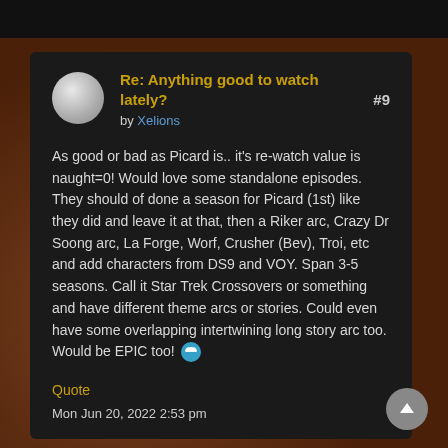Re: Anything good to watch lately? #9 by Xelions
As good or bad as Picard is.. it's re-watch value is naught=0! Would love some standalone episodes. They should of done a season for Picard (1st) like they did and leave it at that, then a Riker arc, Crazy Dr Soong arc, La Forge, Worf, Crusher (Bev), Troi, etc and add characters from DS9 and VOY. Span 3-5 seasons. Call it Star Trek Crossovers or something and have different theme arcs or stories. Could even have some overlapping intertwining long story arc too. Would be EPIC too! 😐
Quote
Mon Jun 20, 2022 2:53 pm